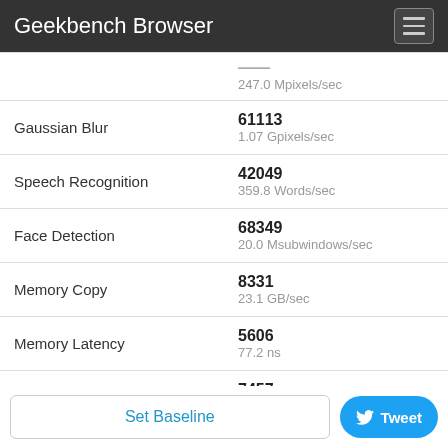Geekbench Browser
| Test | Score |
| --- | --- |
| (partial - cut off) | 247.0 Mpixels/sec |
| Gaussian Blur | 61113
1.07 Gpixels/sec |
| Speech Recognition | 42049
359.8 Words/sec |
| Face Detection | 68349
20.0 Msubwindows/sec |
| Memory Copy | 8331
23.1 GB/sec |
| Memory Latency | 5606
77.2 ns |
| Memory Bandwidth | 7457
39.8 GB/sec |
Set Baseline
Tweet